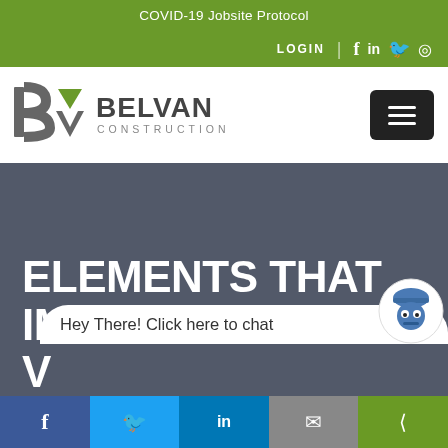COVID-19 Jobsite Protocol
LOGIN
[Figure (logo): Belvan Construction logo with stylized BV monogram in gray and green, company name in bold gray letters]
ELEMENTS THAT IMPROVE THE V...
Hey There! Click here to chat